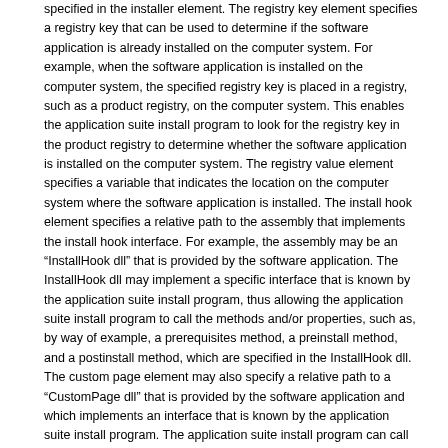specified in the installer element. The registry key element specifies a registry key that can be used to determine if the software application is already installed on the computer system. For example, when the software application is installed on the computer system, the specified registry key is placed in a registry, such as a product registry, on the computer system. This enables the application suite install program to look for the registry key in the product registry to determine whether the software application is installed on the computer system. The registry value element specifies a variable that indicates the location on the computer system where the software application is installed. The install hook element specifies a relative path to the assembly that implements the install hook interface. For example, the assembly may be an “InstallHook dll” that is provided by the software application. The InstallHook dll may implement a specific interface that is known by the application suite install program, thus allowing the application suite install program to call the methods and/or properties, such as, by way of example, a prerequisites method, a preinstall method, and a postinstall method, which are specified in the InstallHook dll. The custom page element may also specify a relative path to a “CustomPage dll” that is provided by the software application and which implements an interface that is known by the application suite install program. The application suite install program can call the method that is specified in the CustomPage dll to return a custom page for the software application.